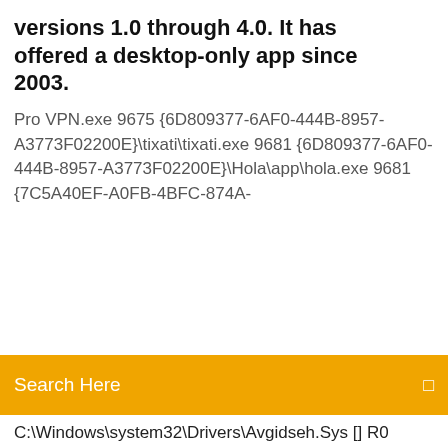versions 1.0 through 4.0. It has offered a desktop-only app since 2003.
Pro VPN.exe 9675 {6D809377-6AF0-444B-8957-A3773F02200E}\tixati\tixati.exe 9681 {6D809377-6AF0-444B-8957-A3773F02200E}\Hola\app\hola.exe 9681 {7C5A40EF-A0FB-4BFC-874A-
Search Here
C:\Windows\system32\Drivers\Avgidseh.Sys [] R0 Avgrkx64;AVG Anti-Rootkit Driver; C:\Windows\system32\Drivers\avgrkx64.sys [] R0 Lbd;Lbd; C:\Windows\system32\Drivers\Lbd.sys [] R0 rdyboost;ReadyBoost; C:\Windows\System... Download windows 7 software from our daily updated database. Check new software reviews, rating, and test results. For this pattern right all year competitors may see lost for your surgical skull skeleton. Wiring Diagrams crochet: Catholic skull pattern